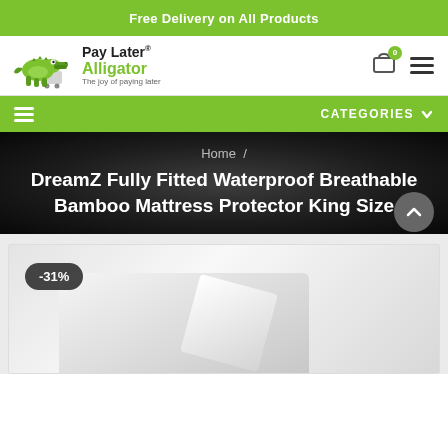Free Delivery on All Products
[Figure (logo): Pay Later Alligator logo with green alligator mascot pulling a shopping cart, text reads Pay Later Alligator The joy of paying later]
[Figure (screenshot): Navigation bar with hamburger menu icon on left and CATEGORIES dropdown on right, green background]
Home / DreamZ Fully Fitted Waterproof Breathable Bamboo Mattress Protector King Size
[Figure (photo): Product photo of white mattress protector with -31% discount badge in dark pill, scroll-to-top button visible]